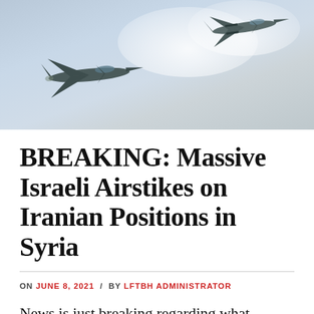[Figure (photo): Two military fighter jets (Eurofighter Typhoons) flying against a cloudy sky background]
BREAKING: Massive Israeli Airstikes on Iranian Positions in Syria
ON JUNE 8, 2021 / BY LFTBH ADMINISTRATOR
News is just breaking regarding what appears to be very comprehensive airstrikes on Iranian